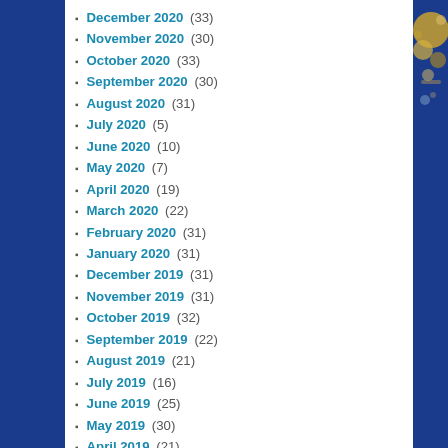December 2020 (33)
November 2020 (30)
October 2020 (33)
September 2020 (30)
August 2020 (31)
July 2020 (5)
June 2020 (10)
May 2020 (7)
April 2020 (19)
March 2020 (22)
February 2020 (31)
January 2020 (31)
December 2019 (31)
November 2019 (31)
October 2019 (32)
September 2019 (22)
August 2019 (21)
July 2019 (16)
June 2019 (25)
May 2019 (30)
April 2019 (21)